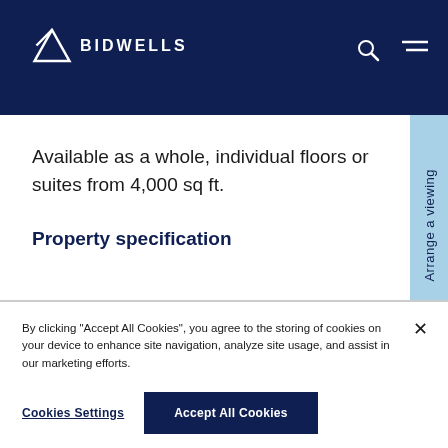BIDWELLS
Available as a whole, individual floors or suites from 4,000 sq ft.
Property specification
By clicking "Accept All Cookies", you agree to the storing of cookies on your device to enhance site navigation, analyze site usage, and assist in our marketing efforts.
Cookies Settings
Accept All Cookies